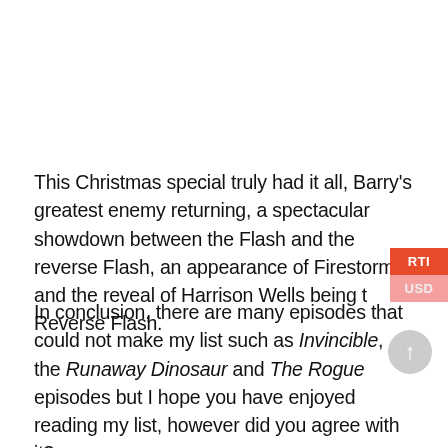This Christmas special truly had it all, Barry's greatest enemy returning, a spectacular showdown between the Flash and the reverse Flash, an appearance of Firestorm and the reveal of Harrison Wells being the Reverse Flash.
In conclusion, there are many episodes that could not make my list such as Invincible, the Runaway Dinosaur and The Rogue episodes but I hope you have enjoyed reading my list, however did you agree with it?